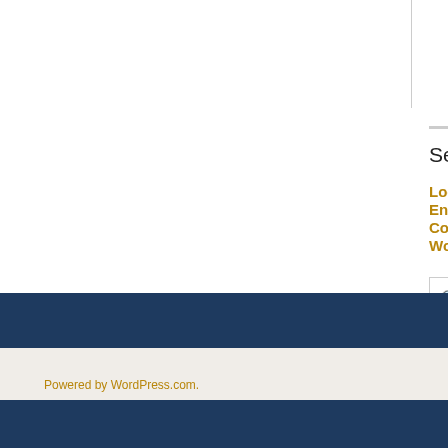Search
Log in
Entries feed
Comments feed
WordPress.org
Hit Co
868,28
RSS
RSS
Powered by WordPress.com.